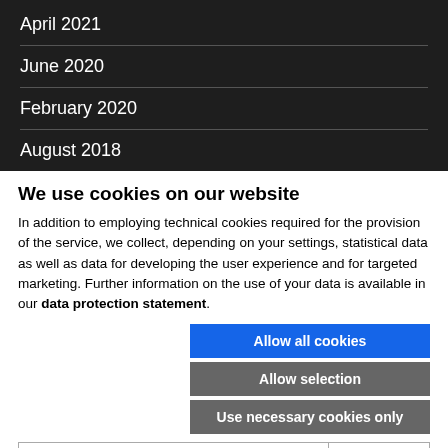April 2021
June 2020
February 2020
August 2018
We use cookies on our website
In addition to employing technical cookies required for the provision of the service, we collect, depending on your settings, statistical data as well as data for developing the user experience and for targeted marketing. Further information on the use of your data is available in our data protection statement.
Allow all cookies
Allow selection
Use necessary cookies only
| Cookie options | Show details |
| --- | --- |
| ☑ Necessary technical cookies | Show details ∨ |
| ☐ Functional cookies   ☐ Statistics cookies |  |
| ☐ Marketing cookies |  |